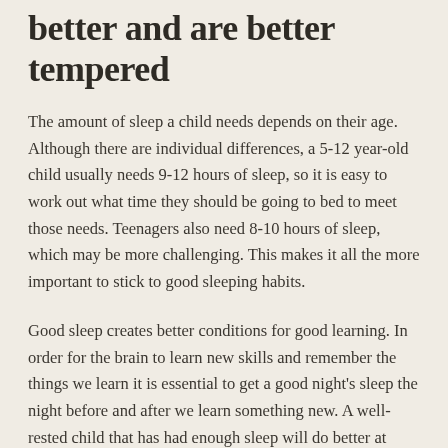better and are better tempered
The amount of sleep a child needs depends on their age. Although there are individual differences, a 5-12 year-old child usually needs 9-12 hours of sleep, so it is easy to work out what time they should be going to bed to meet those needs. Teenagers also need 8-10 hours of sleep, which may be more challenging. This makes it all the more important to stick to good sleeping habits.
Good sleep creates better conditions for good learning. In order for the brain to learn new skills and remember the things we learn it is essential to get a good night's sleep the night before and after we learn something new. A well-rested child that has had enough sleep will do better at school, cope better with new impressions and stress, and be more content in general.